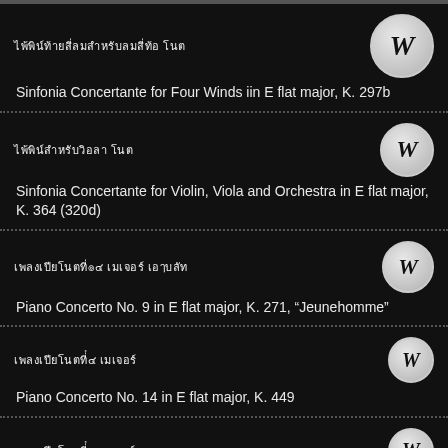Sinfonia Concertante for Four Winds iin E flat major, K. 297b
Sinfonia Concertante for Violin, Viola and Orchestra in E flat major, K. 364 (320d)
Piano Concerto No. 9 in E flat major, K. 271, "Jeunehomme"
Piano Concerto No. 14 in E flat major, K. 449
Piano Concerto No. 15 in B flat major, K. 450